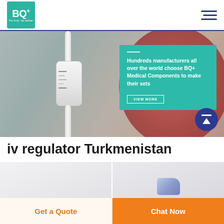[Figure (logo): BQ+ Medical Components logo - teal/green square with BQ+ text and tagline 'For trust, we deliver']
[Figure (photo): Hero banner showing IV drip regulator/chamber medical device with red blurred background, with teal overlay box containing promotional text]
Hundreds manufacturers all over the world choose BQ+ Medical Components to make their sets
iv regulator Turkmenistan
[Figure (photo): Product image placeholder - left: iv regulator product on light grey background]
[Figure (photo): Product image placeholder - right: iv regulator with blue connector on light grey background]
Get a Quote
Chat Now